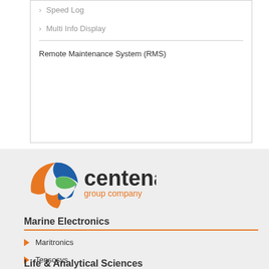Speed Log
Multi Info Display
Remote Maintenance System (RMS)
[Figure (logo): Centena group company logo with stylized globe icon in orange, blue, and green, and text 'centena' in dark gray with 'group company' in orange below]
Marine Electronics
Maritronics
Tensosys
Emphor Marine
Life & Analytical Sciences